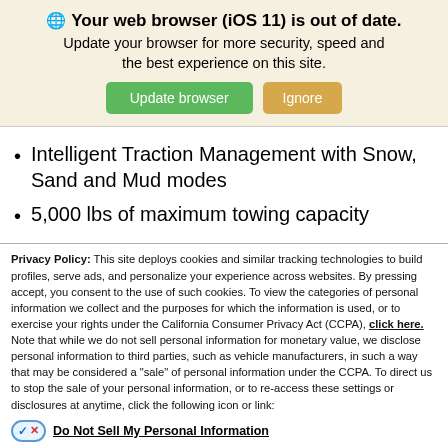🌐 Your web browser (iOS 11) is out of date. Update your browser for more security, speed and the best experience on this site.
Intelligent Traction Management with Snow, Sand and Mud modes
5,000 lbs of maximum towing capacity
Privacy Policy: This site deploys cookies and similar tracking technologies to build profiles, serve ads, and personalize your experience across websites. By pressing accept, you consent to the use of such cookies. To view the categories of personal information we collect and the purposes for which the information is used, or to exercise your rights under the California Consumer Privacy Act (CCPA), click here. Note that while we do not sell personal information for monetary value, we disclose personal information to third parties, such as vehicle manufacturers, in such a way that may be considered a "sale" of personal information under the CCPA. To direct us to stop the sale of your personal information, or to re-access these settings or disclosures at anytime, click the following icon or link:
Do Not Sell My Personal Information
Language: English  Powered by ComplyAuto
Accept and Continue →  California Privacy Disclosures